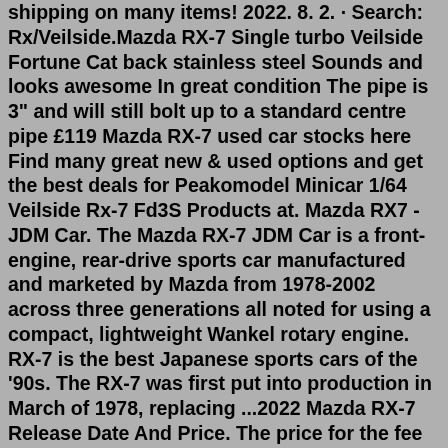shipping on many items! 2022. 8. 2. · Search: Rx/Veilside.Mazda RX-7 Single turbo Veilside Fortune Cat back stainless steel Sounds and looks awesome In great condition The pipe is 3" and will still bolt up to a standard centre pipe £119 Mazda RX-7 used car stocks here Find many great new & used options and get the best deals for Peakomodel Minicar 1/64 Veilside Rx-7 Fd3S Products at. Mazda RX7 - JDM Car. The Mazda RX-7 JDM Car is a front-engine, rear-drive sports car manufactured and marketed by Mazda from 1978-2002 across three generations all noted for using a compact, lightweight Wankel rotary engine. RX-7 is the best Japanese sports cars of the '90s. The RX-7 was first put into production in March of 1978, replacing ...2022 Mazda RX-7 Release Date And Price. The price for the fee for the near Mazda RX-7 2022 is an extra secret. On the contrary, we can assume that this impressive sports car will go on sale sooner or later in 2022. The likely launch date is during the last quarter of 2022. The Mazda RX-7 will be launched as a model for 2022. Fiberglass Veilside